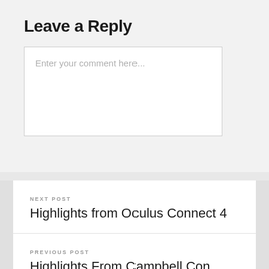Leave a Reply
Enter your comment here...
NEXT POST
Highlights from Oculus Connect 4
PREVIOUS POST
Highlights From Campbell Con 2017